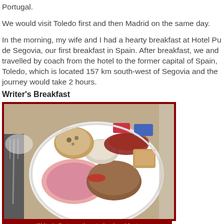Portugal.
We would visit Toledo first and then Madrid on the same day.
In the morning, my wife and I had a hearty breakfast at Hotel Pu de Segovia, our first breakfast in Spain. After breakfast, we and travelled by coach from the hotel to the former capital of Spain, Toledo, which is located 157 km south-west of Segovia and the journey would take 2 hours.
Writer's Breakfast
[Figure (photo): A plate of breakfast foods including ham, meats, bread, pastries at Hotel Puerto de Segovia, Spain]
Writer's first mouth-watering breakfast in Spain at Hotel Puerto de Segovia